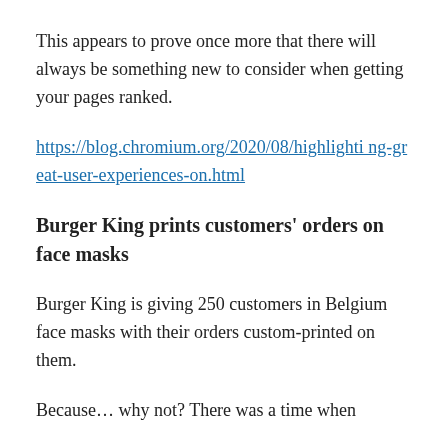This appears to prove once more that there will always be something new to consider when getting your pages ranked.
https://blog.chromium.org/2020/08/highlighting-great-user-experiences-on.html
Burger King prints customers' orders on face masks
Burger King is giving 250 customers in Belgium face masks with their orders custom-printed on them.
Because… why not? There was a time when